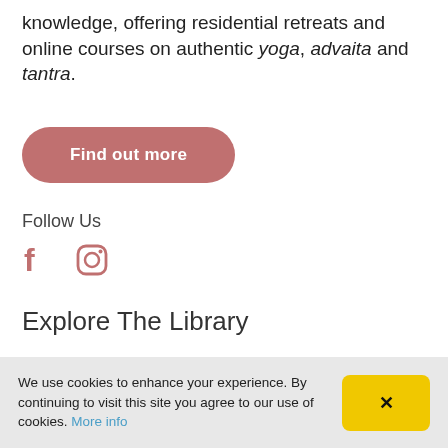knowledge, offering residential retreats and online courses on authentic yoga, advaita and tantra.
Find out more
Follow Us
[Figure (illustration): Facebook and Instagram social media icons in pink/rose color]
Explore The Library
Main Categories
Yoga
Advaita
We use cookies to enhance your experience. By continuing to visit this site you agree to our use of cookies. More info